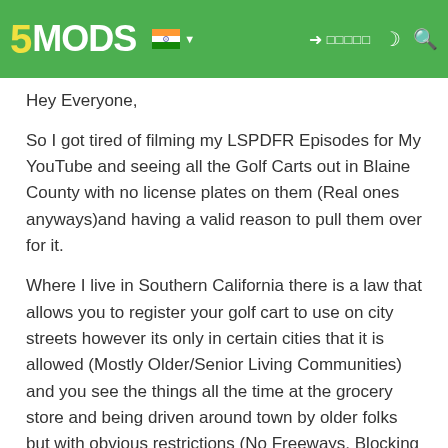5MODS [India flag] [login] [icons]
Hey Everyone,
So I got tired of filming my LSPDFR Episodes for My YouTube and seeing all the Golf Carts out in Blaine County with no license plates on them (Real ones anyways)and having a valid reason to pull them over for it.
Where I live in Southern California there is a law that allows you to register your golf cart to use on city streets however its only in certain cities that it is allowed (Mostly Older/Senior Living Communities) and you see the things all the time at the grocery store and being driven around town by older folks but with obvious restrictions (No Freeways, Blocking Lanes or Flow of Traffic).
So This is a Real Simple Edit, Just adds a License Plate on the
Show Full Description
VANILLA EDIT